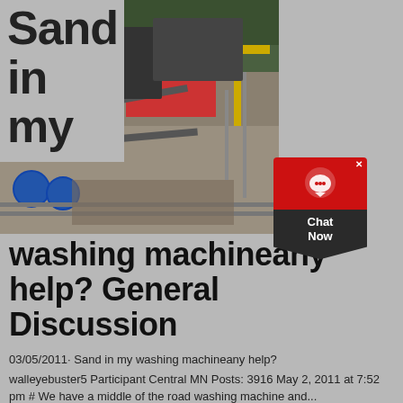[Figure (photo): Aerial view of a sand washing machine / industrial quarry site with machinery, conveyor belts, and excavated ground surrounded by green trees]
Sand in my
[Figure (other): Chat Now widget with red circle icon and dark chevron]
washing machineany help? General Discussion
03/05/2011· Sand in my washing machineany help?
walleyebuster5 Participant Central MN Posts: 3916 May 2, 2011 at 7:52 pm # We have a middle of the road washing machine and...